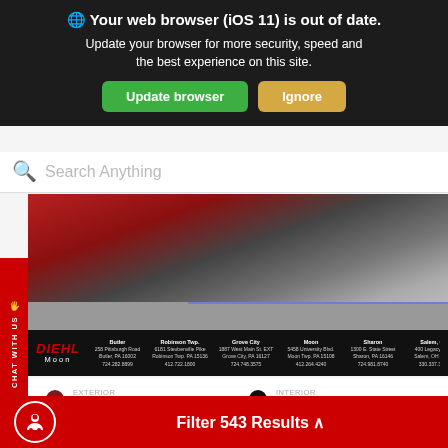Your web browser (iOS 11) is out of date. Update your browser for more security, speed and the best experience on this site. [Update browser] [Ignore]
Search Anything
[Figure (photo): Partial view of a red car (Dodge Durango) from front-low angle showing wheel and front bumper in a parking lot]
[Figure (logo): Diehl Moon dealership banner showing logo and multiple location addresses including Butler, Robinson Twp., Grove City, Moon, Sharon, and Salem OH]
EXTERIOR: Octane Red Pearlcoat | INTERIOR: Black
USED 2020
DODGE DURANGO GT
Stock # 22MR07031A
Mileage: 9,593
Filter 543 Results ^